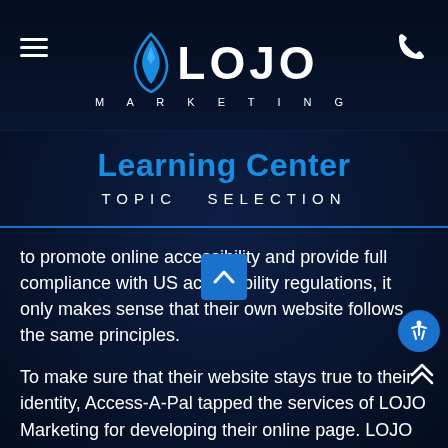[Figure (logo): LOJO Marketing logo with blue diamond/flame icon and white text on dark navy background. Navigation bar with hamburger menu on left and phone icon on right.]
Learning Center
TOPIC  SELECTION
to promote online accessibility and provide full compliance with US accessibility regulations, it only makes sense that their own website follows the same principles.
To make sure that their website stays true to their identity, Access-A-Pal tapped the services of LOJO Marketing for developing their online page. LOJO Marketing is an expert in website design, digital marketing, and brand development, and they utilized all these skills to ensure that Access-A-Pal's